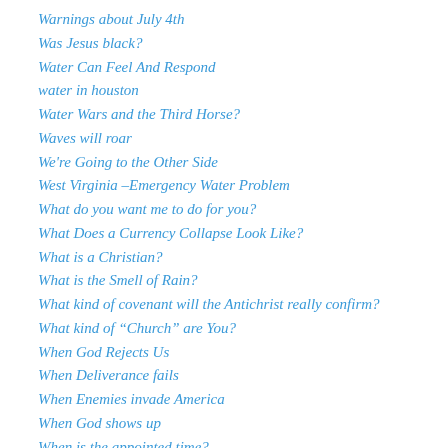Warnings about July 4th
Was Jesus black?
Water Can Feel And Respond
water in houston
Water Wars and the Third Horse?
Waves will roar
We're Going to the Other Side
West Virginia –Emergency Water Problem
What do you want me to do for you?
What Does a Currency Collapse Look Like?
What is a Christian?
What is the Smell of Rain?
What kind of covenant will the Antichrist really confirm?
What kind of “Church” are You?
When God Rejects Us
When Deliverance fails
When Enemies invade America
When God shows up
When is the appointed time?
When the flock becomes the prey